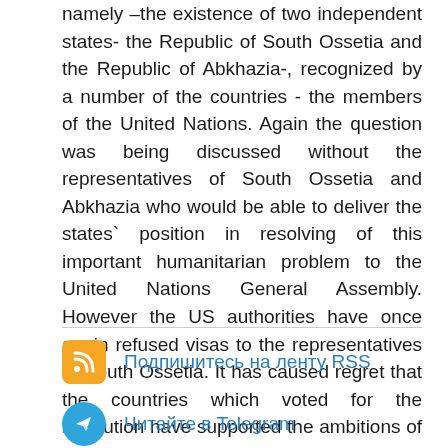namely –the existence of two independent states- the Republic of South Ossetia and the Republic of Abkhazia-, recognized by a number of the countries - the members of the United Nations. Again the question was being discussed without the representatives of South Ossetia and Abkhazia who would be able to deliver the states` position in resolving of this important humanitarian problem to the United Nations General Assembly. However the US authorities have once again refused visas to the representatives of South Ossetia. It has caused regret that the countries which voted for the resolution have supported the ambitions of the Georgian leadership.
Подпишитесь на ленту RSS
Читайте в Telegram